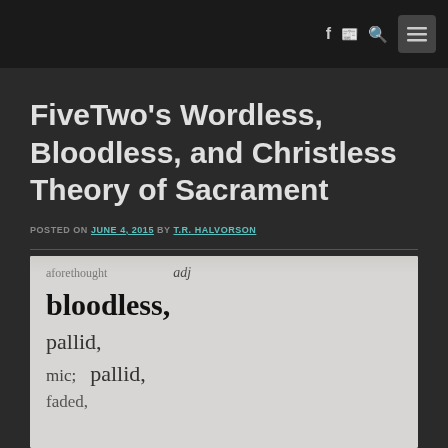Navigation bar with social icons (f, RSS, search) and menu button
FiveTwo's Wordless, Bloodless, and Christless Theory of Sacrament
POSTED ON JUNE 4, 2015 BY T.R. HALVORSON
[Figure (photo): Close-up photograph of a dictionary page showing the word 'bloodless' in bold, with surrounding words including 'aforethought', 'adj', 'pallid', 'mic', 'faded']